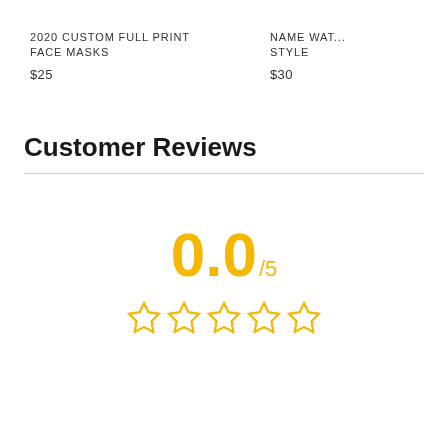2020 CUSTOM FULL PRINT FACE MASKS
$25
NAME WAT... STYLE
$30
Customer Reviews
0.0/5